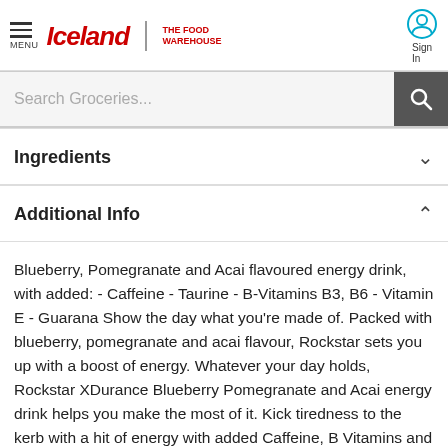[Figure (logo): Iceland | The Food Warehouse logo with hamburger menu icon]
[Figure (screenshot): Search Groceries... search bar with search button]
Ingredients
Additional Info
Blueberry, Pomegranate and Acai flavoured energy drink, with added: - Caffeine - Taurine - B-Vitamins B3, B6 - Vitamin E - Guarana Show the day what you're made of. Packed with blueberry, pomegranate and acai flavour, Rockstar sets you up with a boost of energy. Whatever your day holds, Rockstar XDurance Blueberry Pomegranate and Acai energy drink helps you make the most of it. Kick tiredness to the kerb with a hit of energy with added Caffeine, B Vitamins and Vitamin E mixed with Taurine and Guarana. . Caffeine. B-Vitamins. Taurine. Guarana. Rockstar.